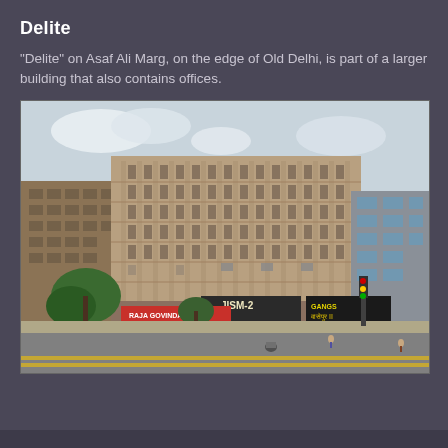Delite
"Delite" on Asaf Ali Marg, on the edge of Old Delhi, is part of a larger building that also contains offices.
[Figure (photo): Street-level photograph of the Delite cinema building on Asaf Ali Marg, Old Delhi. A large multi-storey tan/beige building with columned facade, featuring Bollywood movie billboards (JISM-2, Gangs of Wasseypur II) at ground level, and shops/restaurants including Raja Govindam. Street scene with vehicles and trees in foreground.]